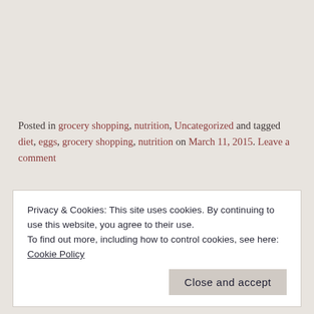Posted in grocery shopping, nutrition, Uncategorized and tagged diet, eggs, grocery shopping, nutrition on March 11, 2015. Leave a comment
Privacy & Cookies: This site uses cookies. By continuing to use this website, you agree to their use.
To find out more, including how to control cookies, see here: Cookie Policy
Close and accept